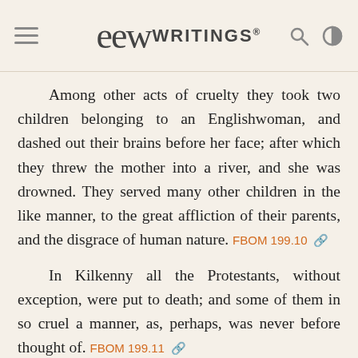EGW WRITINGS®
Among other acts of cruelty they took two children belonging to an Englishwoman, and dashed out their brains before her face; after which they threw the mother into a river, and she was drowned. They served many other children in the like manner, to the great affliction of their parents, and the disgrace of human nature. FBOM 199.10
In Kilkenny all the Protestants, without exception, were put to death; and some of them in so cruel a manner, as, perhaps, was never before thought of. FBOM 199.11
They beat an Englishwoman with such savage barbarity, that she had scarce a whole bone left; after which they threw her into a ditch; but not